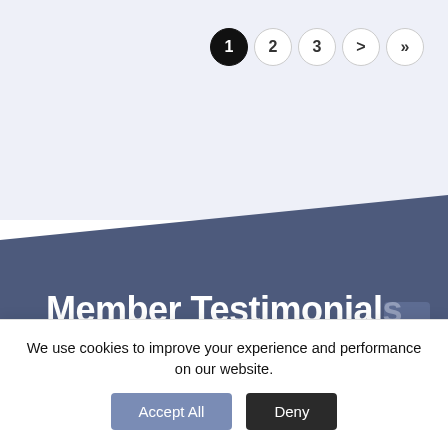1 2 3 > »
Member Testimonials
[Figure (photo): Partial profile photo circle visible at bottom of blue-grey section]
We use cookies to improve your experience and performance on our website.
Accept All   Deny